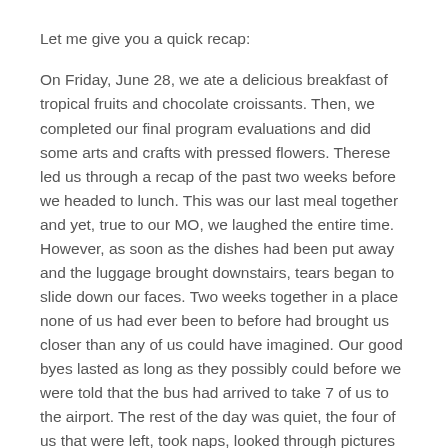Let me give you a quick recap:
On Friday, June 28, we ate a delicious breakfast of tropical fruits and chocolate croissants. Then, we completed our final program evaluations and did some arts and crafts with pressed flowers. Therese led us through a recap of the past two weeks before we headed to lunch. This was our last meal together and yet, true to our MO, we laughed the entire time. However, as soon as the dishes had been put away and the luggage brought downstairs, tears began to slide down our faces. Two weeks together in a place none of us had ever been to before had brought us closer than any of us could have imagined. Our good byes lasted as long as they possibly could before we were told that the bus had arrived to take 7 of us to the airport. The rest of the day was quiet, the four of us that were left, took naps, looked through pictures and packed up our own bags for the next day.